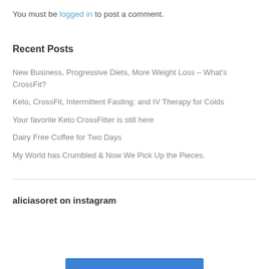You must be logged in to post a comment.
Recent Posts
New Business, Progressive Diets, More Weight Loss – What's CrossFit?
Keto, CrossFit, Intermittent Fasting; and IV Therapy for Colds
Your favorite Keto CrossFitter is still here
Dairy Free Coffee for Two Days
My World has Crumbled & Now We Pick Up the Pieces.
aliciasoret on instagram
[Figure (other): Blue button/banner at bottom of page]